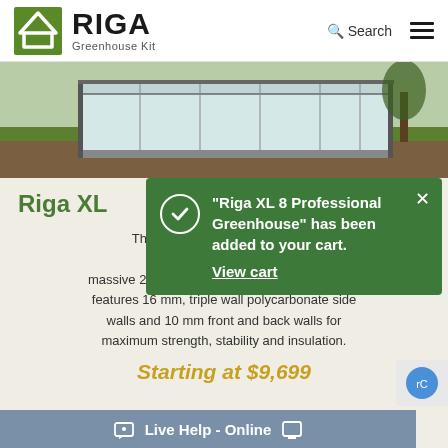RIGA Greenhouse Kit
[Figure (photo): Exterior photo of a large polycarbonate greenhouse structure with aluminum framing, set on a lawn with garden beds visible.]
Riga XL
The biggest of our Riga line, the XL measures ... massive 283 square feet of floor space. The XL features 16 mm, triple wall polycarbonate side walls and 10 mm front and back walls for maximum strength, stability and insulation.
“Riga XL 8 Professional Greenhouse” has been added to your cart. View cart
Starting at $9,699
Live Help - Online